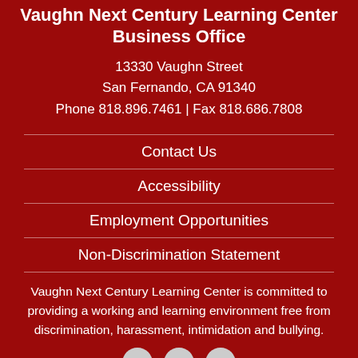Vaughn Next Century Learning Center Business Office
13330 Vaughn Street
San Fernando, CA 91340
Phone 818.896.7461 | Fax 818.686.7808
Contact Us
Accessibility
Employment Opportunities
Non-Discrimination Statement
Vaughn Next Century Learning Center is committed to providing a working and learning environment free from discrimination, harassment, intimidation and bullying.
[Figure (other): Row of three social media icon circles at bottom of page]